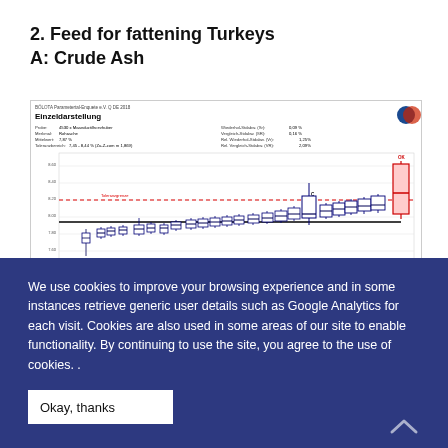2. Feed for fattening Turkeys
A: Crude Ash
[Figure (continuous-plot): Einzeldarstellung chart showing box plots of Crude Ash measurements over multiple rounds/labs, with a red dashed tolerance line, blue box plots and one red highlighted box plot at the far right indicating an outlier. Header metadata includes Probe, Merkmal: Rohasche, Mittelwert: 7.87%, tolerance range, Wiederhol-Stdabw, Vergleich-Stdabw, and other statistical parameters.]
We use cookies to improve your browsing experience and in some instances retrieve generic user details such as Google Analytics for each visit. Cookies are also used in some areas of our site to enable functionality. By continuing to use the site, you agree to the use of cookies. .
Okay, thanks